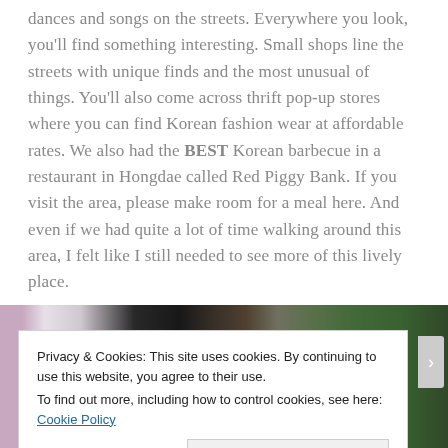dances and songs on the streets. Everywhere you look, you'll find something interesting. Small shops line the streets with unique finds and the most unusual of things. You'll also come across thrift pop-up stores where you can find Korean fashion wear at affordable rates. We also had the BEST Korean barbecue in a restaurant in Hongdae called Red Piggy Bank. If you visit the area, please make room for a meal here. And even if we had quite a lot of time walking around this area, I felt like I still needed to see more of this lively place.
[Figure (photo): Partial photo of Korean food items including dishes, bowls, and green leafy vegetables on a table, cropped at top of frame]
Privacy & Cookies: This site uses cookies. By continuing to use this website, you agree to their use.
To find out more, including how to control cookies, see here: Cookie Policy
Close and accept